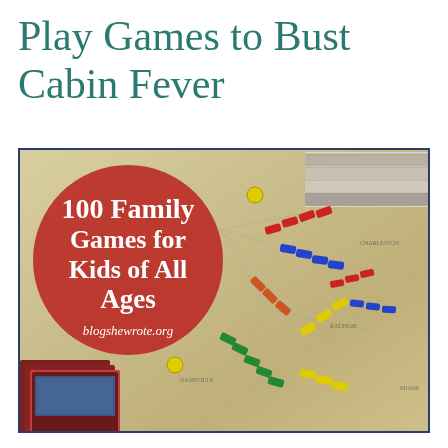Play Games to Bust Cabin Fever
[Figure (photo): Photo of a Ticket to Ride board game with colorful train pieces arranged on the board map. A large red circle overlay shows text: '100 Family Games for Kids of All Ages' with URL 'blogshewrote.org'. Game cards visible at bottom left, stacked books at top right.]